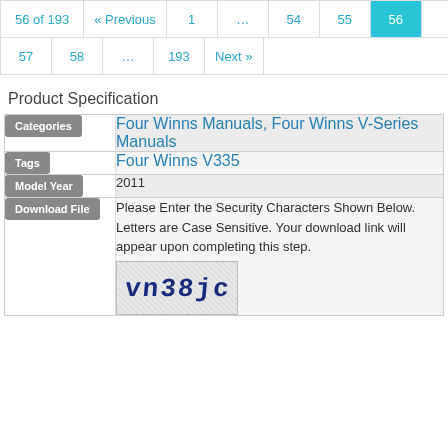56 of 193 « Previous 1 … 54 55 56 57 58 … 193 Next »
Product Specification
|  |  |
| --- | --- |
| Categories | Four Winns Manuals, Four Winns V-Series Manuals |
| Tags | Four Winns V335 |
| Model Year | 2011 |
| Download File | Please Enter the Security Characters Shown Below. Letters are Case Sensitive. Your download link will appear upon completing this step. [captcha: vn38jc] |